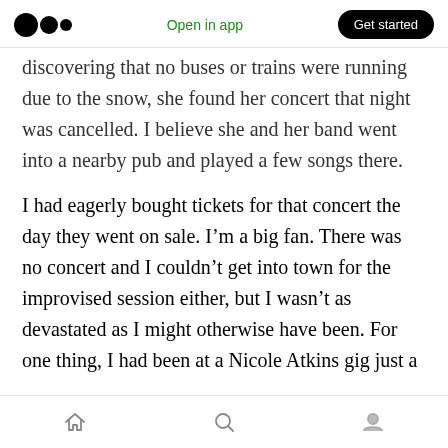Medium logo | Open in app | Get started
discovering that no buses or trains were running due to the snow, she found her concert that night was cancelled. I believe she and her band went into a nearby pub and played a few songs there.
I had eagerly bought tickets for that concert the day they went on sale. I’m a big fan. There was no concert and I couldn’t get into town for the improvised session either, but I wasn’t as devastated as I might otherwise have been. For one thing, I had been at a Nicole Atkins gig just a
Home | Search | Profile